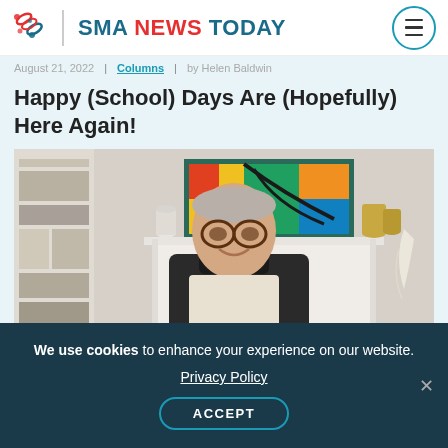SMA NEWS TODAY
August 21, 2022 | Columns | by Helen Baldwin
Happy (School) Days Are (Hopefully) Here Again!
[Figure (photo): Person with glasses sitting in a power wheelchair, smiling, in a home setting with a colorful painting and decorative items on a mantle behind them.]
We use cookies to enhance your experience on our website. Privacy Policy ACCEPT